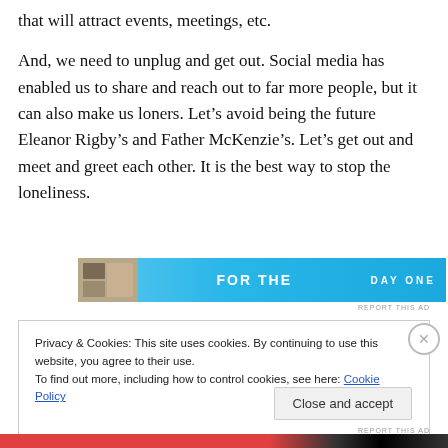that will attract events, meetings, etc.
And, we need to unplug and get out. Social media has enabled us to share and reach out to far more people, but it can also make us loners. Let’s avoid being the future Eleanor Rigby’s and Father McKenzie’s. Let’s get out and meet and greet each other. It is the best way to stop the loneliness.
[Figure (other): Advertisement banner for DAY ONE app with light blue background]
REPORT THIS AD
Privacy & Cookies: This site uses cookies. By continuing to use this website, you agree to their use.
To find out more, including how to control cookies, see here: Cookie Policy
Close and accept
REPORT THIS AD